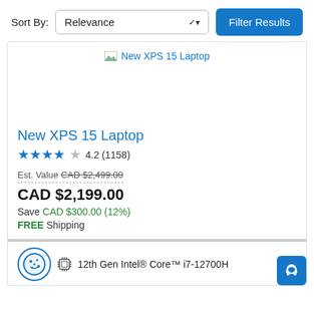Sort By:
Relevance
Filter Results
[Figure (screenshot): Product image placeholder for New XPS 15 Laptop with broken image icon and blue link text]
New XPS 15 Laptop
4.2 (1158)
Est. Value CAD $2,499.00
CAD $2,199.00
Save CAD $300.00 (12%)
FREE Shipping
12th Gen Intel® Core™ i7-12700H